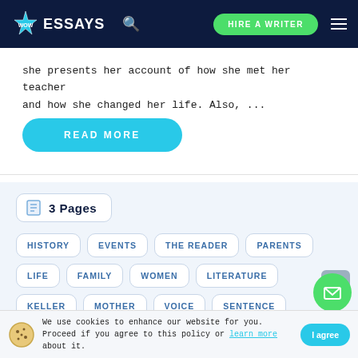[Figure (logo): WOW Essays logo with star badge and navigation bar including search icon, HIRE A WRITER button, and hamburger menu]
she presents her account of how she met her teacher and how she changed her life. Also, ...
READ MORE
3 Pages
HISTORY
EVENTS
THE READER
PARENTS
LIFE
FAMILY
WOMEN
LITERATURE
KELLER
MOTHER
VOICE
SENTENCE
We use cookies to enhance our website for you. Proceed if you agree to this policy or learn more about it.